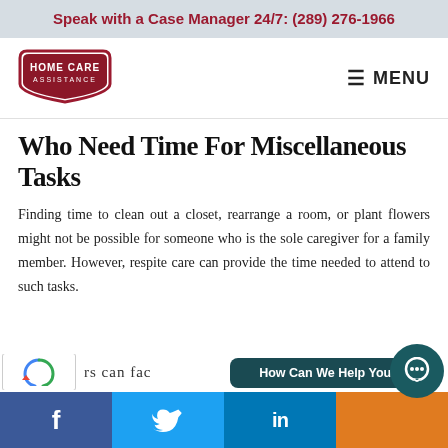Speak with a Case Manager 24/7: (289) 276-1966
[Figure (logo): Home Care Assistance logo — dark red rounded hexagon shape with 'HOME CARE ASSISTANCE' text in white]
Who Need Time For Miscellaneous Tasks
Finding time to clean out a closet, rearrange a room, or plant flowers might not be possible for someone who is the sole caregiver for a family member. However, respite care can provide the time needed to attend to such tasks.
rs can fac
How Can We Help You?